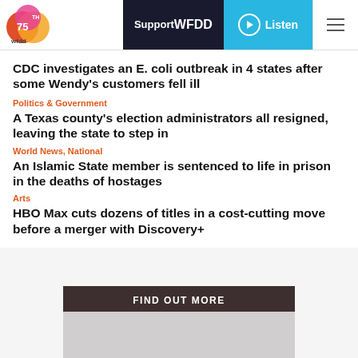WFDD 75th | Support WFDD | Listen
CDC investigates an E. coli outbreak in 4 states after some Wendy's customers fell ill
Politics & Government
A Texas county's election administrators all resigned, leaving the state to step in
World News, National
An Islamic State member is sentenced to life in prison in the deaths of hostages
Arts
HBO Max cuts dozens of titles in a cost-cutting move before a merger with Discovery+
FIND OUT MORE